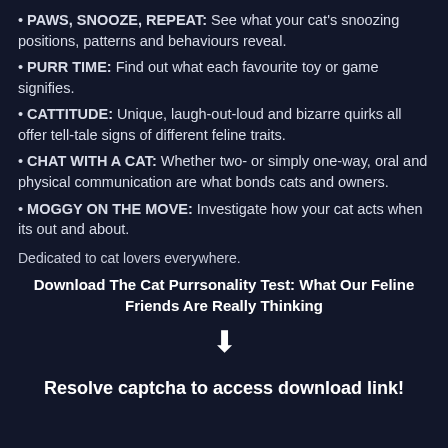• PAWS, SNOOZE, REPEAT: See what your cat's snoozing positions, patterns and behaviours reveal.
• PURR TIME: Find out what each favourite toy or game signifies.
• CATTITUDE: Unique, laugh-out-loud and bizarre quirks all offer tell-tale signs of different feline traits.
• CHAT WITH A CAT: Whether two- or simply one-way, oral and physical communication are what bonds cats and owners.
• MOGGY ON THE MOVE: Investigate how your cat acts when its out and about.
Dedicated to cat lovers everywhere.
Download The Cat Purrsonality Test: What Our Feline Friends Are Really Thinking
[Figure (other): Down arrow icon]
Resolve captcha to access download link!